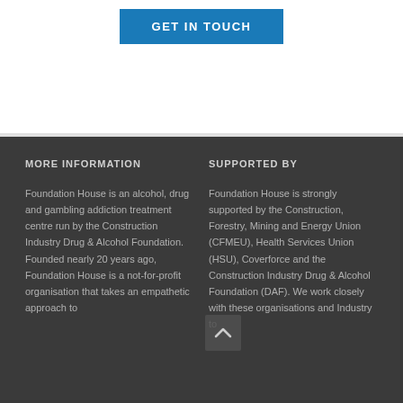[Figure (other): Blue 'GET IN TOUCH' button on white background]
MORE INFORMATION
SUPPORTED BY
Foundation House is an alcohol, drug and gambling addiction treatment centre run by the Construction Industry Drug & Alcohol Foundation. Founded nearly 20 years ago, Foundation House is a not-for-profit organisation that takes an empathetic approach to
Foundation House is strongly supported by the Construction, Forestry, Mining and Energy Union (CFMEU), Health Services Union (HSU), Coverforce and the Construction Industry Drug & Alcohol Foundation (DAF). We work closely with these organisations and Industry to